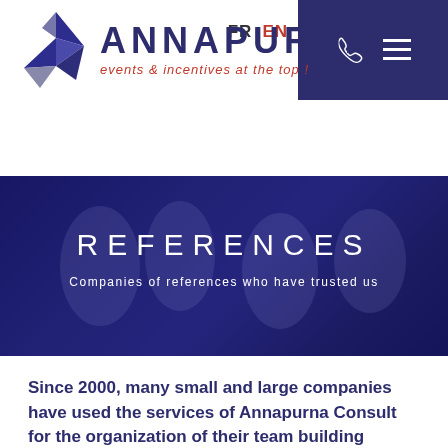[Figure (logo): Annapurna logo with geometric star shape in dark blue/grey triangles, company name ANNAPURNA in dark blue capitals, tagline 'events & incentives at the top !' in red italic]
FR  EN
REFERENCES
Companies of references who have trusted us
Since 2000, many small and large companies have used the services of Annapurna Consult for the organization of their team building activities,